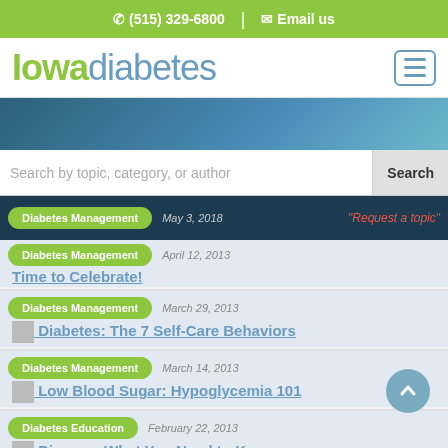(515) 329-6800 | Email us
Iowadiabetes
[Figure (screenshot): Search bar with placeholder 'Search by topic, category or author' and Search button]
Diabetes Management — May 3, 2018 — Time to Celebrate!
Diabetes Management — April 12, 2013 — Time to Celebrate!
Diabetes Management — March 29, 2013 — Take Control of Your Diabetes: The 7 Self-Care Behaviors
Diabetes Management — March 14, 2013 — Low Blood Sugar: Hypoglycemia 101
Diabetes Education — February 22, 2013 — Diabetic Kidney Disease: What You Need to Know